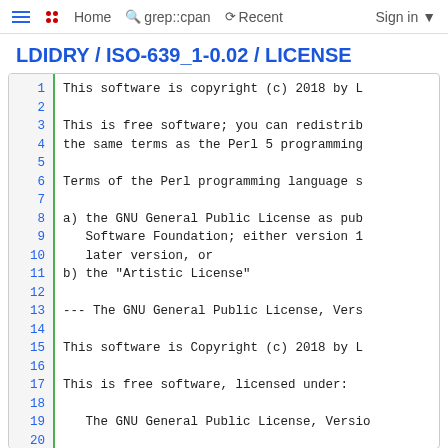Home  grep::cpan  Recent  Sign in
LDIDRY / ISO-639_1-0.02 / LICENSE
1  This software is copyright (c) 2018 by L
2
3  This is free software; you can redistrib
4  the same terms as the Perl 5 programming
5
6  Terms of the Perl programming language s
7
8  a) the GNU General Public License as pub
9     Software Foundation; either version 1
10    later version, or
11 b) the "Artistic License"
12
13 --- The GNU General Public License, Vers
14
15 This software is Copyright (c) 2018 by L
16
17 This is free software, licensed under:
18
19    The GNU General Public License, Versio
20
21                        GNU GENERAL PUBLIC L
22                        Version 1, February